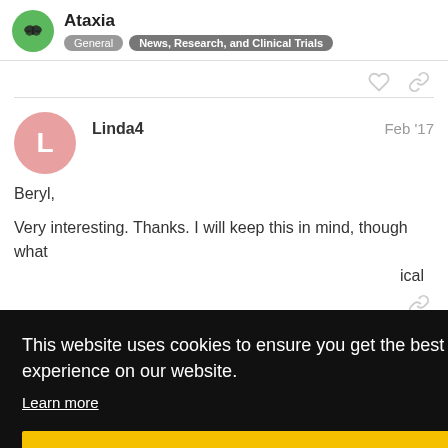Ataxia — General, News, Research, and Clinical Trials
Linda4   Feb '17
Beryl,
Very interesting. Thanks. I will keep this in mind, though what   ical
This website uses cookies to ensure you get the best experience on our website. Learn more  Got it!